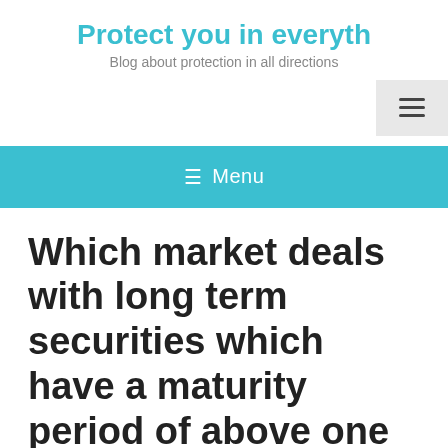Protect you in everyth
Blog about protection in all directions
≡ Menu
Which market deals with long term securities which have a maturity period of above one